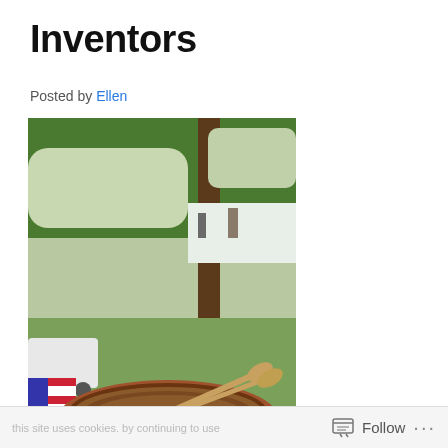Inventors
Posted by Ellen
[Figure (photo): A wooden rowboat named 'RUBY' displayed on grass at an outdoor show, with wooden oars inside, an American flag draped on the left side, and trees and a white tent visible in the background.]
Although The WoodenBoat
Follow ...